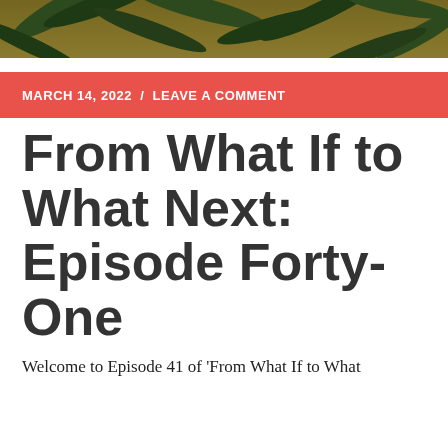[Figure (photo): Decorative header image with tropical leaf/palm pattern in dark green and gold tones]
MARCH 14, 2022 / LEAVE A COMMENT
From What If to What Next: Episode Forty-One
Welcome to Episode 41 of 'From What If to What